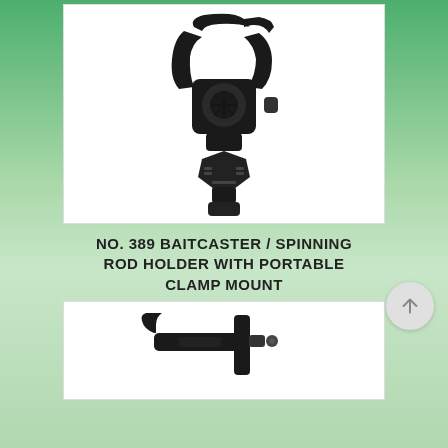[Figure (photo): Black plastic baitcaster/spinning rod holder with portable clamp mount — top-down view showing the rod holder bracket and the hexagonal clamp mount base. Product by Scotty.]
NO. 389 BAITCASTER / SPINNING ROD HOLDER WITH PORTABLE CLAMP MOUNT
[Figure (photo): Second photo of a similar black rod holder product, partially visible at the bottom of the page, showing a side angle of the holder and mount mechanism.]